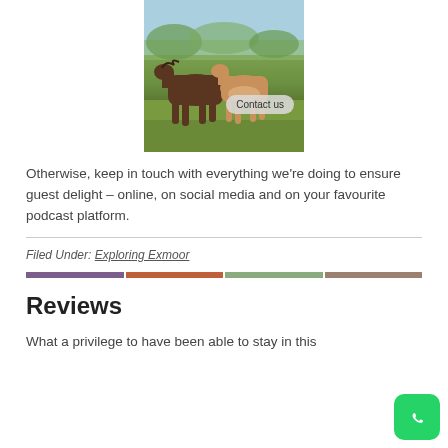[Figure (photo): Two young Exmoor ponies/foals standing on green grass with trees in background, with a 'Contact us' button overlay]
Otherwise, keep in touch with everything we're doing to ensure guest delight – online, on social media and on your favourite podcast platform.
Filed Under: Exploring Exmoor
Reviews
What a privilege to have been able to stay in this